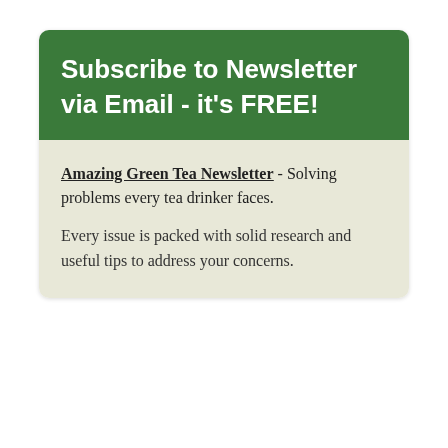Subscribe to Newsletter via Email - it's FREE!
Amazing Green Tea Newsletter - Solving problems every tea drinker faces.
Every issue is packed with solid research and useful tips to address your concerns.